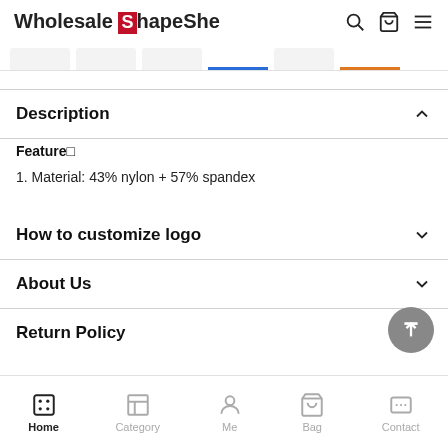Wholesale ShapeShe
Description
Feature□
1. Material: 43% nylon + 57% spandex
How to customize logo
About Us
Return Policy
Home  Category  Me  Bag  Contact